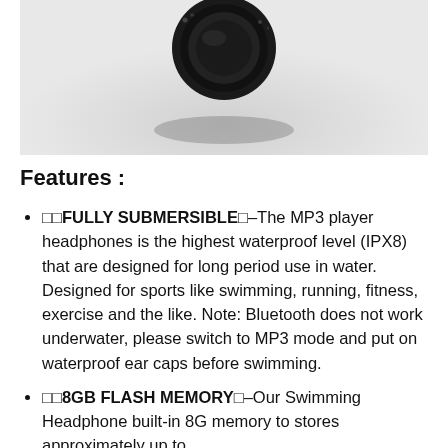[Figure (photo): Product photo of black wireless earphone/headphone on light gray background with shadow underneath]
Features :
🟦🟦FULLY SUBMERSIBLE🟦–The MP3 player headphones is the highest waterproof level (IPX8) that are designed for long period use in water. Designed for sports like swimming, running, fitness, exercise and the like. Note: Bluetooth does not work underwater, please switch to MP3 mode and put on waterproof ear caps before swimming.
🟦🟦8GB FLASH MEMORY🟦–Our Swimming Headphone built-in 8G memory to stores approximately up to